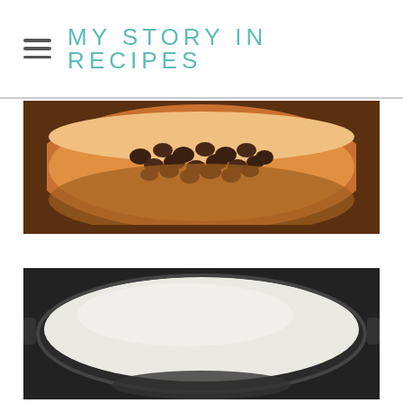MY STORY IN RECIPES
[Figure (photo): Close-up photo of a wooden bowl filled with chocolate chips or small dark brown nuts/seeds, soft focus background]
[Figure (photo): Close-up photo of a white creamy liquid (likely cream or milk) in a dark pot or pan, viewed from above at an angle]